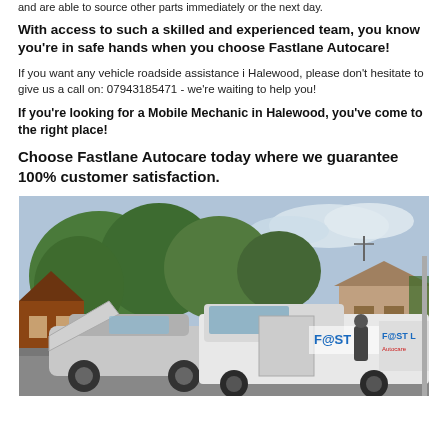and are able to source other parts immediately or the next day.
With access to such a skilled and experienced team, you know you're in safe hands when you choose Fastlane Autocare!
If you want any vehicle roadside assistance i Halewood, please don't hesitate to give us a call on: 07943185471 - we're waiting to help you!
If you're looking for a Mobile Mechanic in Halewood, you've come to the right place!
Choose Fastlane Autocare today where we guarantee 100% customer satisfaction.
[Figure (photo): A Fastlane Autocare van parked next to a silver car with bonnet open, on a residential street with trees and houses in the background.]